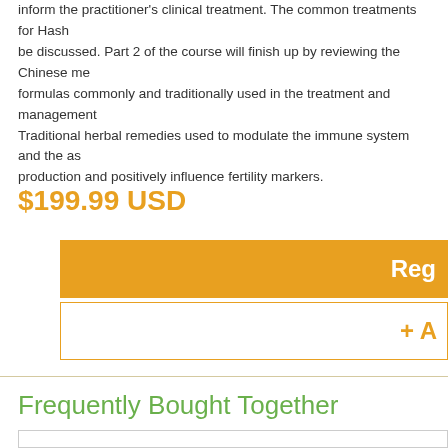inform the practitioner's clinical treatment. The common treatments for Hash... be discussed. Part 2 of the course will finish up by reviewing the Chinese me... formulas commonly and traditionally used in the treatment and management... Traditional herbal remedies used to modulate the immune system and the as... production and positively influence fertility markers.
$199.99 USD
[Figure (screenshot): Orange 'Register' button]
[Figure (screenshot): White button with orange plus icon and partial text 'A']
Frequently Bought Together
[Figure (photo): Partial photo of a person at the bottom of the page]